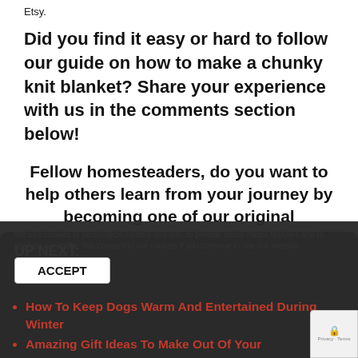Etsy.
Did you find it easy or hard to follow our guide on how to make a chunky knit blanket? Share your experience with us in the comments section below!
Fellow homesteaders, do you want to help others learn from your journey by becoming one of our original contributors? Write for us!
UP NEXT:
We use cookies to personalize content and ads, to provide social media features and to analyze our traffic. You consent to our cookies if you continue to use our website.
ACCEPT
How To Keep Dogs Warm And Entertained During Winter
Amazing Gift Ideas To Make Out Of Your